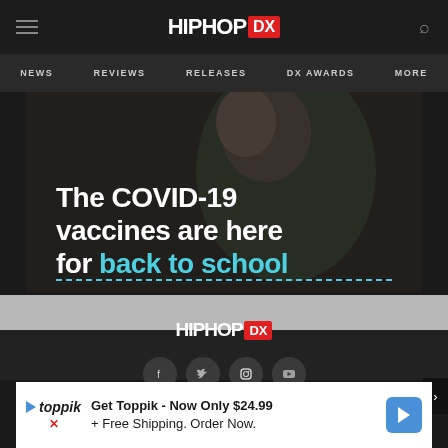HipHopDX - Navigation header with logo, hamburger menu, search icon
NEWS  REVIEWS  RELEASES  DX AWARDS  MORE
[Figure (photo): Advertisement banner showing a mother and child with text: The COVID-19 vaccines are here for back to school]
[Figure (logo): HipHopDX footer logo with social media icons: Facebook, Twitter, Instagram, YouTube]
[Figure (infographic): Toppik advertisement: Get Toppik - Now Only $24.99 + Free Shipping. Order Now.]